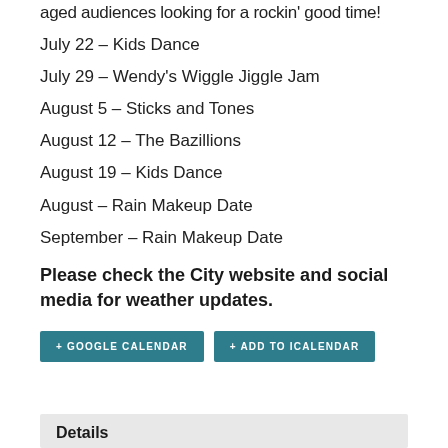aged audiences looking for a rockin' good time!
July 22 – Kids Dance
July 29 – Wendy's Wiggle Jiggle Jam
August 5 – Sticks and Tones
August 12 – The Bazillions
August 19 – Kids Dance
August – Rain Makeup Date
September – Rain Makeup Date
Please check the City website and social media for weather updates.
+ GOOGLE CALENDAR
+ ADD TO ICALENDAR
Details